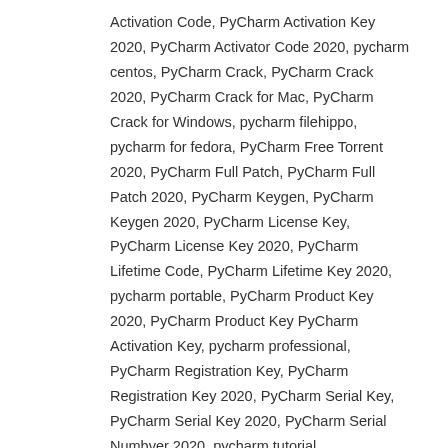Activation Code, PyCharm Activation Key 2020, PyCharm Activator Code 2020, pycharm centos, PyCharm Crack, PyCharm Crack 2020, PyCharm Crack for Mac, PyCharm Crack for Windows, pycharm filehippo, pycharm for fedora, PyCharm Free Torrent 2020, PyCharm Full Patch, PyCharm Full Patch 2020, PyCharm Keygen, PyCharm Keygen 2020, PyCharm License Key, PyCharm License Key 2020, PyCharm Lifetime Code, PyCharm Lifetime Key 2020, pycharm portable, PyCharm Product Key 2020, PyCharm Product Key PyCharm Activation Key, pycharm professional, PyCharm Registration Key, PyCharm Registration Key 2020, PyCharm Serial Key, PyCharm Serial Key 2020, PyCharm Serial Numbver 2020, pycharm tutorial
Published by Max Ward
View all posts by Max Ward